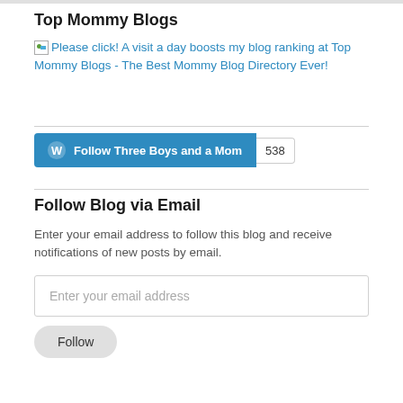Top Mommy Blogs
[Figure (other): Broken image icon followed by a link text: 'Please click! A visit a day boosts my blog ranking at Top Mommy Blogs - The Best Mommy Blog Directory Ever!']
[Figure (other): WordPress Follow button reading 'Follow Three Boys and a Mom' with follower count badge showing 538]
Follow Blog via Email
Enter your email address to follow this blog and receive notifications of new posts by email.
Enter your email address
Follow